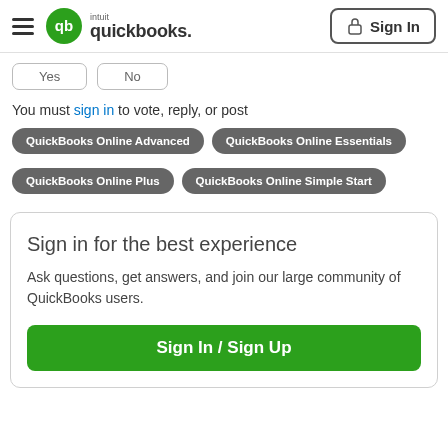[Figure (logo): Intuit QuickBooks logo with hamburger menu and Sign In button in header]
Yes   No
You must sign in to vote, reply, or post
QuickBooks Online Advanced
QuickBooks Online Essentials
QuickBooks Online Plus
QuickBooks Online Simple Start
Sign in for the best experience
Ask questions, get answers, and join our large community of QuickBooks users.
Sign In / Sign Up